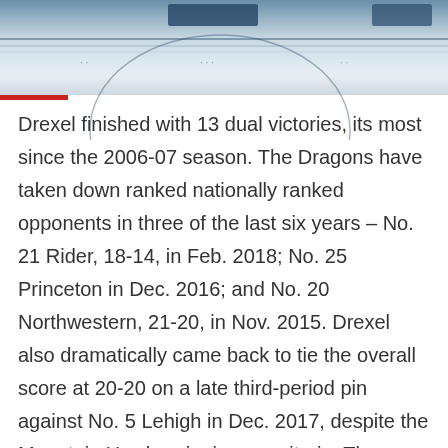[Figure (photo): A wrestling arena or gym floor viewed from above, showing a court/mat surface with blue and white coloring, partial circle markings visible, and a scoreboard/display at the top.]
Drexel finished with 13 dual victories, its most since the 2006-07 season. The Dragons have taken down ranked nationally ranked opponents in three of the last six years – No. 21 Rider, 18-14, in Feb. 2018; No. 25 Princeton in Dec. 2016; and No. 20 Northwestern, 21-20, in Nov. 2015. Drexel also dramatically came back to tie the overall score at 20-20 on a late third-period pin against No. 5 Lehigh in Dec. 2017, despite the Mountain Hawks winning on criteria. The Dragons also recorded major victories over Penn in 2016, their first since 1989, against Hofstra in 2013, their first since 1997, and against Binghamton in 2020, their